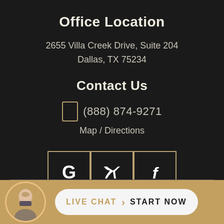Office Location
2655 Villa Creek Drive, Suite 204
Dallas, TX 75234
Contact Us
(888) 874-9271
Map / Directions
[Figure (illustration): Three social media icon buttons in gold-bordered square boxes: Google (G), Twitter (bird), Facebook (f)]
[Figure (illustration): Live chat bar at bottom with avatar photo of a man in suit, and a button reading LIVE CHAT > START NOW]
LIVE CHAT  START NOW